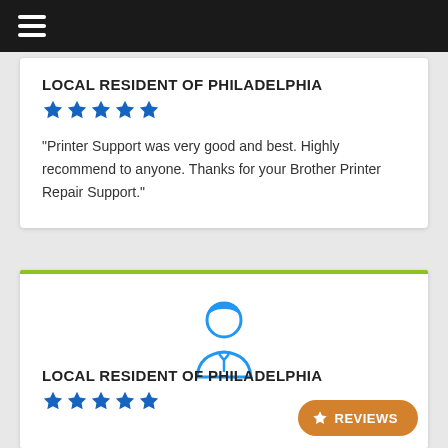LOCAL RESIDENT OF PHILADELPHIA
[Figure (other): Five blue star rating icons]
"Printer Support was very good and best. Highly recommend to anyone. Thanks for your Brother Printer Repair Support."
[Figure (illustration): Blue outline icon of a person/user avatar (business person with tie)]
LOCAL RESIDENT OF PHILADELPHIA
[Figure (other): Five blue star rating icons]